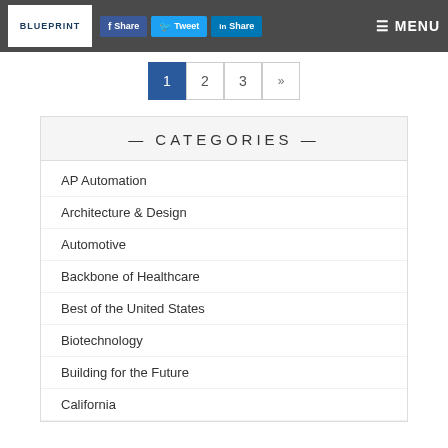BLUEPRINT | Share | Tweet | Share | MENU
1
2
3
»
— CATEGORIES —
AP Automation
Architecture & Design
Automotive
Backbone of Healthcare
Best of the United States
Biotechnology
Building for the Future
California